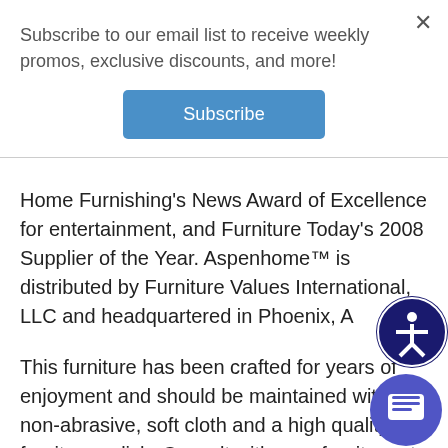Subscribe to our email list to receive weekly promos, exclusive discounts, and more!
Subscribe
Home Furnishing's News Award of Excellence for entertainment, and Furniture Today's 2008 Supplier of the Year. Aspenhome™ is distributed by Furniture Values International, LLC and headquartered in Phoenix, A...
This furniture has been crafted for years of enjoyment and should be maintained with a non-abrasive, soft cloth and a high quality furniture polish. Consult with your furniture store professional about the product to use. Always dust in the direction of the grain with a lightly damp cloth. Moisture should not remain on furniture after dus... Furniture should be kept in a climate controlled environment. Avoid exposure to heat, chemicals, water